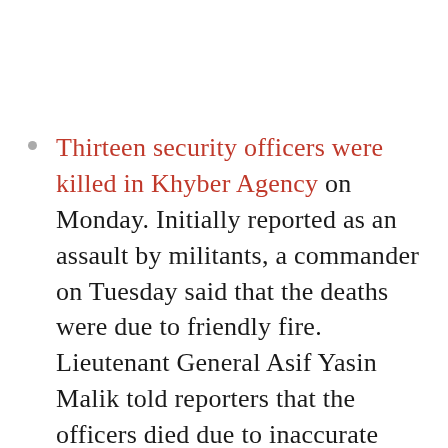Thirteen security officers were killed in Khyber Agency on Monday. Initially reported as an assault by militants, a commander on Tuesday said that the deaths were due to friendly fire. Lieutenant General Asif Yasin Malik told reporters that the officers died due to inaccurate mortar fire